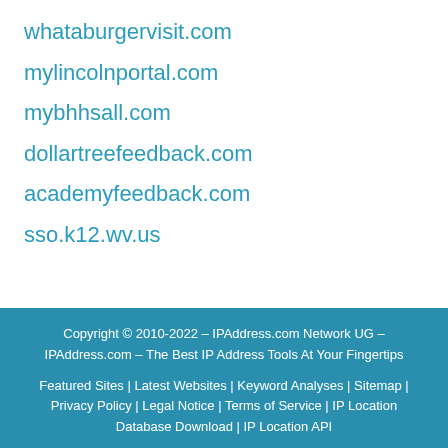whataburgervisit.com
mylincolnportal.com
mybhhsall.com
dollartreefeedback.com
academyfeedback.com
sso.k12.wv.us
Copyright © 2010-2022 - IPAddress.com Network UG - IPAddress.com - The Best IP Address Tools At Your Fingertips

Featured Sites | Latest Websites | Keyword Analyses | Sitemap | Privacy Policy | Legal Notice | Terms of Service | AL Location | Database Download | IP Location API